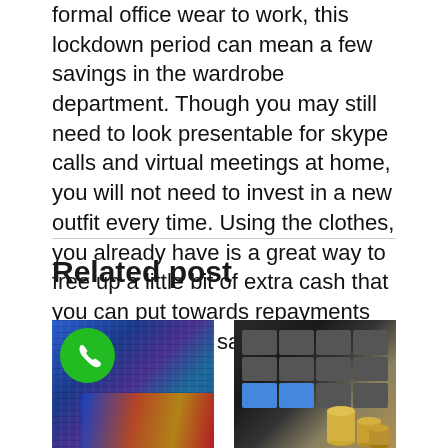formal office wear to work, this lockdown period can mean a few savings in the wardrobe department. Though you may still need to look presentable for skype calls and virtual meetings at home, you will not need to invest in a new outfit every time. Using the clothes, you already have is a great way to free up a little bit of extra cash that you can put towards repayments for loans or your savings.
Related post
[Figure (photo): Photo of jeans with credit cards in pocket, with a green phone call icon overlaid in the top left corner]
[Figure (photo): Photo of a black calculator with stacks of coins beside it]